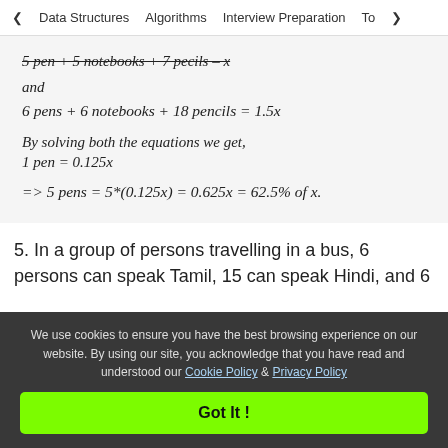< Data Structures   Algorithms   Interview Preparation   To>
and
By solving both the equations we get,
1 pen = 0.125x
5. In a group of persons travelling in a bus, 6 persons can speak Tamil, 15 can speak Hindi, and 6
We use cookies to ensure you have the best browsing experience on our website. By using our site, you acknowledge that you have read and understood our Cookie Policy & Privacy Policy
Got It !